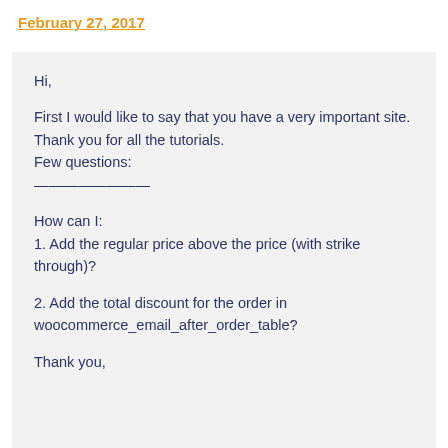February 27, 2017
Hi,

First I would like to say that you have a very important site.
Thank you for all the tutorials.
Few questions:
————————

How can I:
1. Add the regular price above the price (with strike through)?

2. Add the total discount for the order in woocommerce_email_after_order_table?

Thank you,